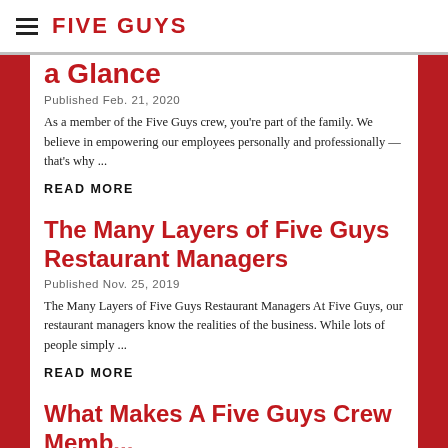FIVE GUYS
a Glance
Published Feb. 21, 2020
As a member of the Five Guys crew, you're part of the family. We believe in empowering our employees personally and professionally — that's why ...
READ MORE
The Many Layers of Five Guys Restaurant Managers
Published Nov. 25, 2019
The Many Layers of Five Guys Restaurant Managers At Five Guys, our restaurant managers know the realities of the business. While lots of people simply ...
READ MORE
What Makes A Five Guys Crew Memb...